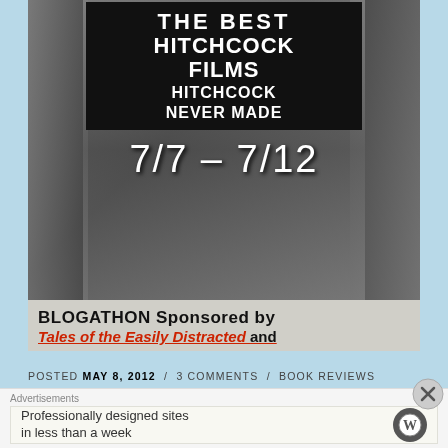[Figure (photo): Black and white photo with text overlay showing a film sign reading 'THE BEST HITCHCOCK FILMS HITCHCOCK NEVER MADE 7/7 - 7/12'. The image shows a person holding or standing near the sign with a dark, moody atmosphere.]
BLOGATHON Sponsored by Tales of the Easily Distracted and
POSTED MAY 8, 2012 / 3 COMMENTS / BOOK REVIEWS
Journeys in Classic Film – The Summer Edition
Advertisements
Professionally designed sites in less than a week